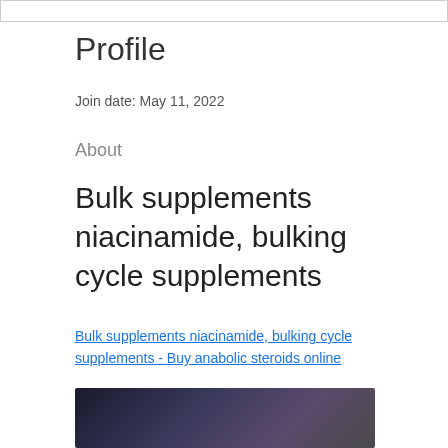Profile
Join date: May 11, 2022
About
Bulk supplements niacinamide, bulking cycle supplements
Bulk supplements niacinamide, bulking cycle supplements - Buy anabolic steroids online
[Figure (photo): Dark blurred image, partially visible at bottom of page]